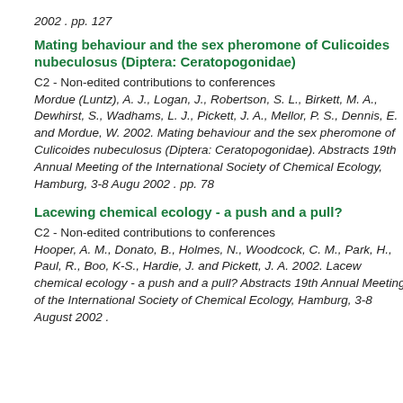2002 . pp. 127
Mating behaviour and the sex pheromone of Culicoides nubeculosus (Diptera: Ceratopogonidae)
C2 - Non-edited contributions to conferences
Mordue (Luntz), A. J., Logan, J., Robertson, S. L., Birkett, M. A., Dewhirst, S., Wadhams, L. J., Pickett, J. A., Mellor, P. S., Dennis, E. and Mordue, W. 2002. Mating behaviour and the sex pheromone of Culicoides nubeculosus (Diptera: Ceratopogonidae). Abstracts 19th Annual Meeting of the International Society of Chemical Ecology, Hamburg, 3-8 August 2002 . pp. 78
Lacewing chemical ecology - a push and a pull?
C2 - Non-edited contributions to conferences
Hooper, A. M., Donato, B., Holmes, N., Woodcock, C. M., Park, H., Paul, R., Boo, K-S., Hardie, J. and Pickett, J. A. 2002. Lacewing chemical ecology - a push and a pull? Abstracts 19th Annual Meeting of the International Society of Chemical Ecology, Hamburg, 3-8 August 2002 .